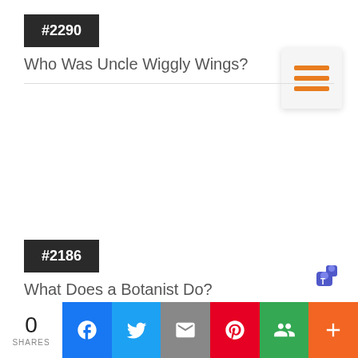#2290
Who Was Uncle Wiggly Wings?
[Figure (other): Hamburger menu icon with three orange horizontal lines on a light gray card]
#2186
What Does a Botanist Do?
[Figure (logo): Microsoft Teams logo icon]
0 SHARES | Facebook | Twitter | Email | Pinterest | Google+ | More